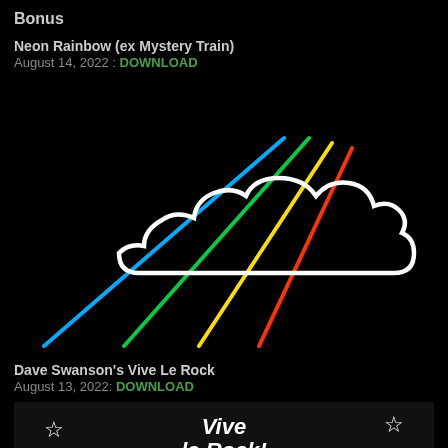Bonus
Neon Rainbow (ex Mystery Train)
August 14, 2022 : DOWNLOAD
[Figure (illustration): Neon rainbow illustration with a glowing white cloud outline and colorful neon lines (blue, green, yellow, red) radiating outward on a black background.]
Dave Swanson's Vive Le Rock
August 13, 2022: DOWNLOAD
[Figure (photo): Vive Le Rock logo/album art with star decorations on a dark background, showing the text 'Vive Le Rock!' in stylized lettering with a figure holding a guitar.]